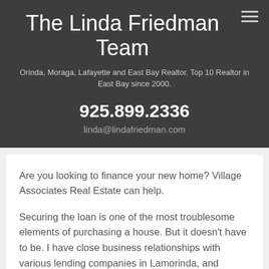The Linda Friedman Team
Orinda, Moraga, Lafayette and East Bay Realtor. Top 10 Realtor in East Bay since 2000.
925.899.2336
linda@lindafriedman.com
Are you looking to finance your new home? Village Associates Real Estate can help.
Securing the loan is one of the most troublesome elements of purchasing a house. But it doesn’t have to be. I have close business relationships with various lending companies in Lamorinda, and they’ve helped me understand